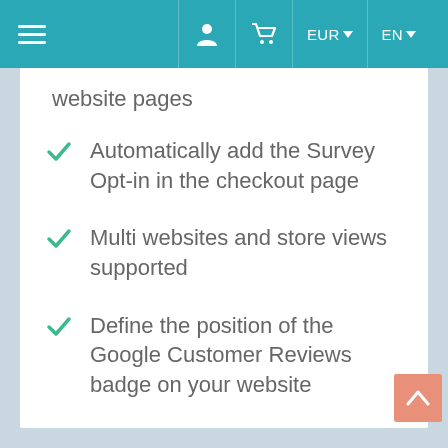EUR  EN
website pages
Automatically add the Survey Opt-in in the checkout page
Multi websites and store views supported
Define the position of the Google Customer Reviews badge on your website
Integration testing tools included